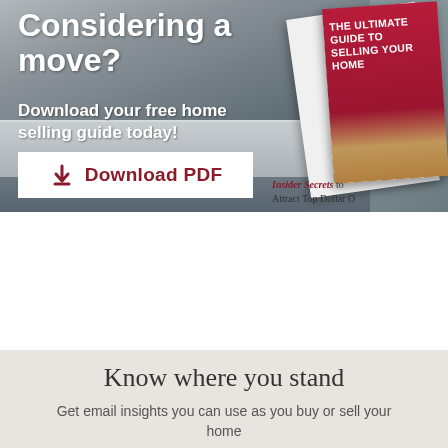[Figure (infographic): Real estate banner showing a kitchen background with a book titled 'THE ULTIMATE GUIDE TO SELLING YOUR HOME' on the right side, white text overlay on the left saying 'Considering a move? Download your free home selling guide today!' with a white Download PDF button. Bottom snippet shows 'Insider Secrets to Attract Top Dollar O']
Know where you stand
Get email insights you can use as you buy or sell your home